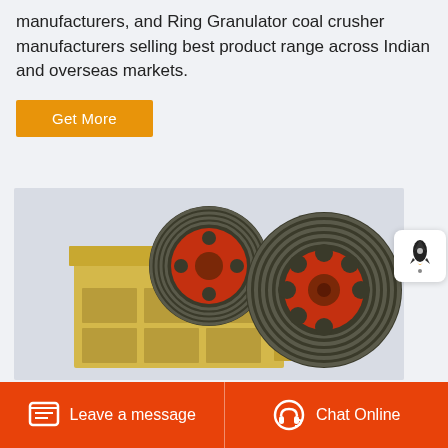manufacturers, and Ring Granulator coal crusher manufacturers selling best product range across Indian and overseas markets.
Get More
[Figure (photo): Industrial jaw crusher machine with two large flywheel pulleys (dark green outer rim, red center) mounted on a heavy yellow painted steel frame with ribbed structure]
Leave a message
Chat Online